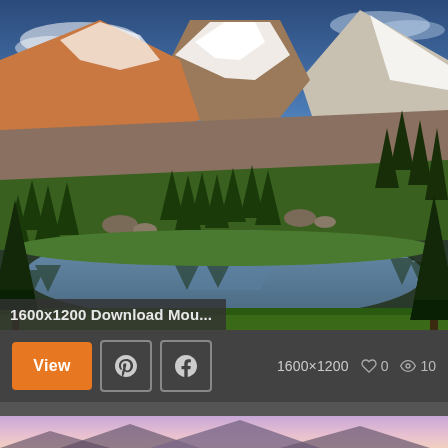[Figure (photo): Mountain landscape photograph showing snow-capped peaks with evergreen trees and a reflective alpine lake in the foreground. Warm golden light illuminates the rocky mountainside.]
1600x1200 Download Mou...
View  |  Pinterest  |  Facebook  |  1600×1200  ♡ 0  👁 10
[Figure (photo): Partial mountain landscape photo at the bottom of the page, showing pink and purple sky with mountain silhouettes.]